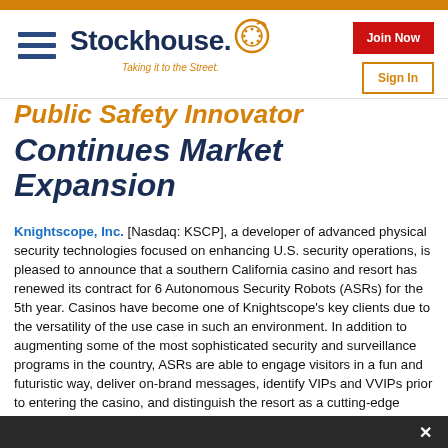Stockhouse – Taking it to the Street.
Public Safety Innovator Continues Market Expansion
Knightscope, Inc. [Nasdaq: KSCP], a developer of advanced physical security technologies focused on enhancing U.S. security operations, is pleased to announce that a southern California casino and resort has renewed its contract for 6 Autonomous Security Robots (ASRs) for the 5th year. Casinos have become one of Knightscope's key clients due to the versatility of the use case in such an environment. In addition to augmenting some of the most sophisticated security and surveillance programs in the country, ASRs are able to engage visitors in a fun and futuristic way, deliver on-brand messages, identify VIPs and VVIPs prior to entering the casino, and distinguish the resort as a cutting-edge destination